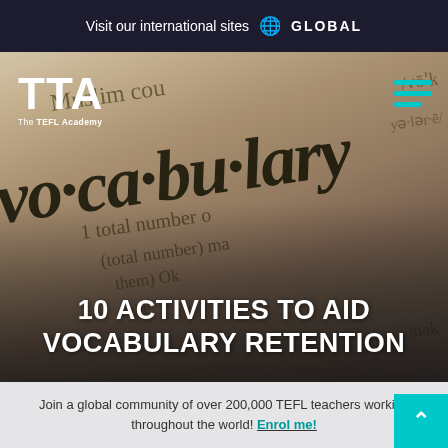Visit our international sites 🌐 GLOBAL
[Figure (photo): Close-up photograph of a dictionary page showing the word 'vo·ca·bu·la·ry' in bold italic text, with other dictionary text visible in the background. TTA (The TEFL Academy) logo in white is in the top left corner. A teal hamburger menu icon is in the top right corner.]
10 ACTIVITIES TO AID VOCABULARY RETENTION
Join a global community of over 200,000 TEFL teachers working throughout the world! Enrol me!